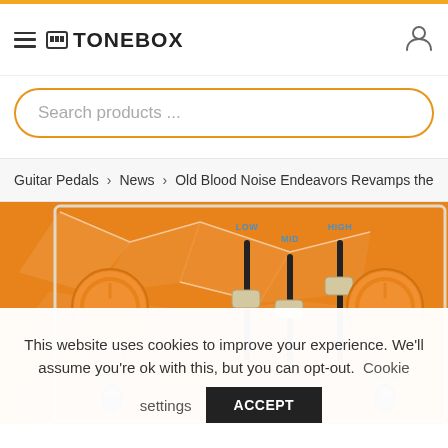TONEBOX
Search products ...
Guitar Pedals > News > Old Blood Noise Endeavors Revamps the
[Figure (photo): Close-up of an orange guitar effects pedal with knobs labeled GAIN 1 and VOL, sliders labeled LOW, MID, HIGH, and toggle switches labeled BOOST and CRUSH. The pedal has an orange and white geometric pattern.]
This website uses cookies to improve your experience. We'll assume you're ok with this, but you can opt-out. Cookie settings ACCEPT